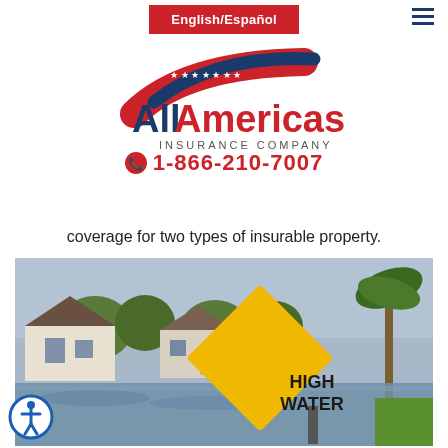English/Español
[Figure (logo): All Americas Insurance Company logo with red and blue swoosh and stars]
1-866-210-7007
coverage for two types of insurable property.
[Figure (photo): Flooded suburban street with houses, trees, vehicles, and a yellow HIGH WATER diamond warning sign in the foreground]